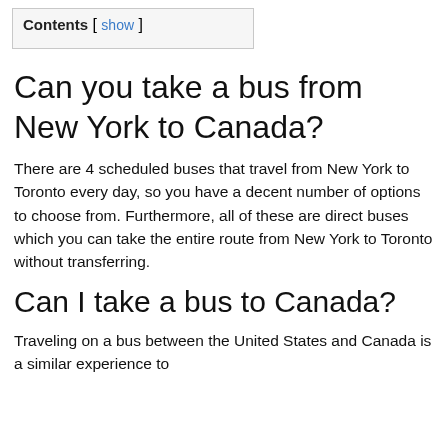Contents [ show ]
Can you take a bus from New York to Canada?
There are 4 scheduled buses that travel from New York to Toronto every day, so you have a decent number of options to choose from. Furthermore, all of these are direct buses which you can take the entire route from New York to Toronto without transferring.
Can I take a bus to Canada?
Traveling on a bus between the United States and Canada is a similar experience to